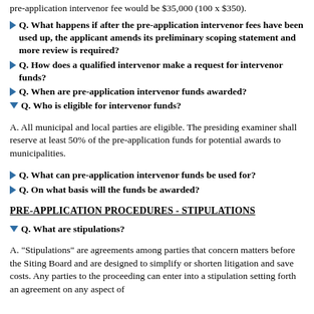pre-application intervenor fee would be $35,000 (100 x $350).
Q. What happens if after the pre-application intervenor fees have been used up, the applicant amends its preliminary scoping statement and more review is required?
Q. How does a qualified intervenor make a request for intervenor funds?
Q. When are pre-application intervenor funds awarded?
Q. Who is eligible for intervenor funds?
A. All municipal and local parties are eligible. The presiding examiner shall reserve at least 50% of the pre-application funds for potential awards to municipalities.
Q. What can pre-application intervenor funds be used for?
Q. On what basis will the funds be awarded?
PRE-APPLICATION PROCEDURES - STIPULATIONS
Q. What are stipulations?
A. "Stipulations" are agreements among parties that concern matters before the Siting Board and are designed to simplify or shorten litigation and save costs. Any parties to the proceeding can enter into a stipulation setting forth an agreement on any aspect of